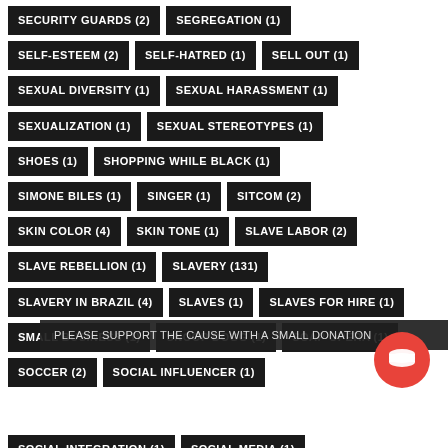SECURITY GUARDS (2)
SEGREGATION (1)
SELF-ESTEEM (2)
SELF-HATRED (1)
SELL OUT (1)
SEXUAL DIVERSITY (1)
SEXUAL HARASSMENT (1)
SEXUALIZATION (1)
SEXUAL STEREOTYPES (1)
SHOES (1)
SHOPPING WHILE BLACK (1)
SIMONE BILES (1)
SINGER (1)
SITCOM (2)
SKIN COLOR (4)
SKIN TONE (1)
SLAVE LABOR (2)
SLAVE REBELLION (1)
SLAVERY (131)
SLAVERY IN BRAZIL (4)
SLAVES (1)
SLAVES FOR HIRE (1)
SMALL BUSINESS (1)
SNOOP DOGG (1)
SOAP OPERA (1)
SOCCER (2)
SOCIAL INFLUENCER (1)
PLEASE SUPPORT THE CAUSE WITH A SMALL DONATION
SOCIAL INTEGRATION (1)
SOCIAL MEDIA (1)